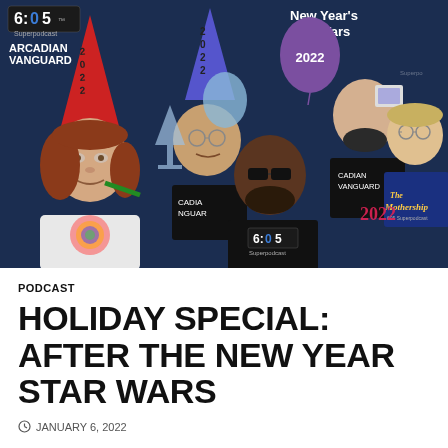[Figure (illustration): Illustrated cartoon artwork showing five people at a New Year's celebration with '2022' party hats, balloons, and glasses. Top left shows '6:05 Superpodcast' and 'Arcadian Vanguard' logos. Top right text reads 'New Year's Star Wars'. Characters wear Arcadian Vanguard and 6:05 Superpodcast shirts. One character wears 2022 novelty glasses and a 'The Mothership' shirt. Dark navy background.]
PODCAST
HOLIDAY SPECIAL: AFTER THE NEW YEAR STAR WARS
JANUARY 6, 2022